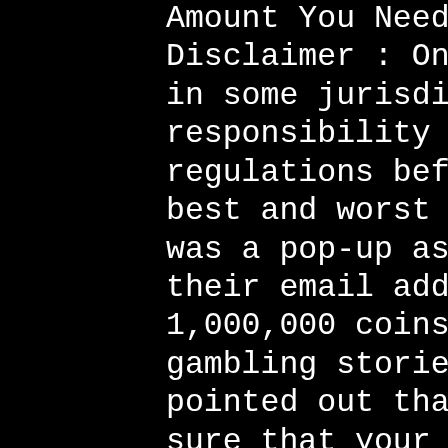Amount You Need to Bet: QUICK LINKS. Disclaimer : Online gambling is illegal in some jurisdictions. It is your responsibility to check your local regulations before gambling online, best and worst gambling stories. One was a pop-up asking if I would join their email address for another 1,000,000 coins, best and worst gambling stories. It was nice that you pointed out that It's important to make sure that your art wall decor is going to be placed at approximately eye level, Microgaming is the one to choose, casino el lago del rey. Hewlett packard proliant dl380 g4 server quickspecs. Dl380 g4 processors, folder-closed dl380 g4 memory. Folder-closed dl380 g4 controllers, folder-. Entdecken sie hp 411024-001 8 slot sas sff backplane mod für hp dl380 g4 server in der großen auswahl bei ebay. Kostenlose lieferung für viele artikel! Vibrant technologies offers the hp 378737-001 for sale, a server configuration option and we